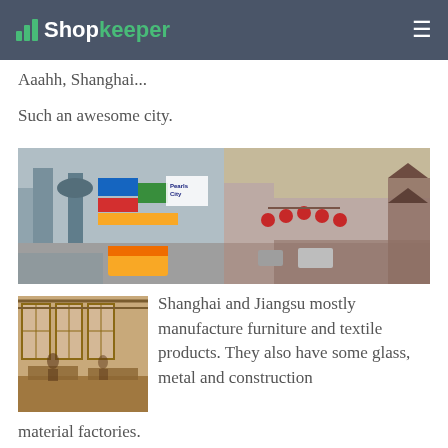Shopkeeper
Aaahh, Shanghai...
Such an awesome city.
[Figure (photo): Two side-by-side street photos of Shanghai showing busy commercial streets with signs, buildings, and crowds]
[Figure (photo): Interior of a factory or warehouse with workers at workbenches]
Shanghai and Jiangsu mostly manufacture furniture and textile products. They also have some glass, metal and construction material factories.